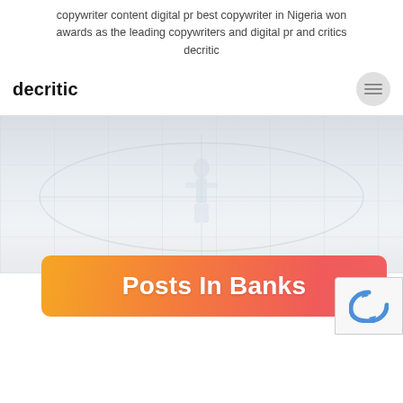copywriter content digital pr best copywriter in Nigeria won awards as the leading copywriters and digital pr and critics decritic
decritic
[Figure (screenshot): Website screenshot showing a sports court background image with a gradient orange-to-red banner reading 'Posts In Banks' and a reCAPTCHA badge in the bottom right corner.]